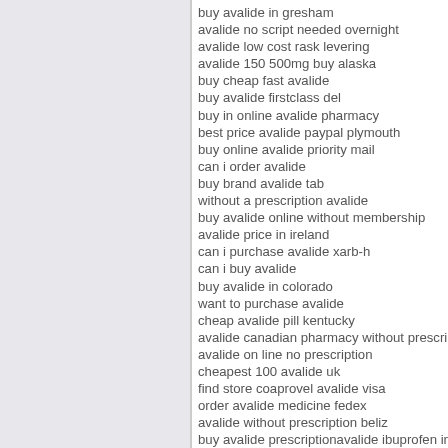buy avalide in gresham
avalide no script needed overnight
avalide low cost rask levering
avalide 150 500mg buy alaska
buy cheap fast avalide
buy avalide firstclass del
buy in online avalide pharmacy
best price avalide paypal plymouth
buy online avalide priority mail
can i order avalide
buy brand avalide tab
without a prescription avalide
buy avalide online without membership
avalide price in ireland
can i purchase avalide xarb-h
can i buy avalide
buy avalide in colorado
want to purchase avalide
cheap avalide pill kentucky
avalide canadian pharmacy without prescription
avalide on line no prescription
cheapest 100 avalide uk
find store coaprovel avalide visa
order avalide medicine fedex
avalide without prescription beliz
buy avalide prescriptionavalide ibuprofen interaction